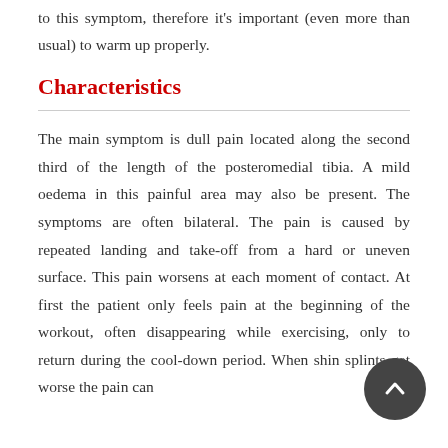to this symptom, therefore it's important (even more than usual) to warm up properly.
Characteristics
The main symptom is dull pain located along the second third of the length of the posteromedial tibia. A mild oedema in this painful area may also be present. The symptoms are often bilateral. The pain is caused by repeated landing and take-off from a hard or uneven surface. This pain worsens at each moment of contact. At first the patient only feels pain at the beginning of the workout, often disappearing while exercising, only to return during the cool-down period. When shin splints get worse the pain can